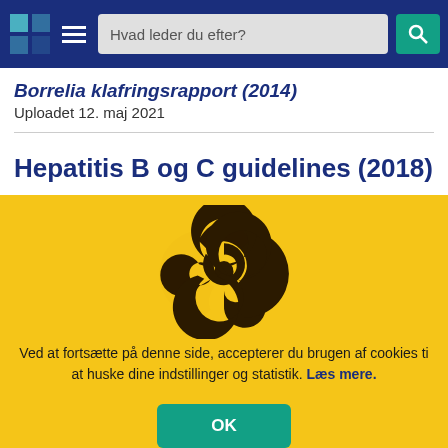[Figure (screenshot): Navigation bar with logo, hamburger menu, search box reading 'Hvad leder du efter?', and teal search button with magnifying glass icon]
Borrelia klafringsrapport (2014)
Uploadet 12. maj 2021
Hepatitis B og C guidelines (2018)
[Figure (illustration): Biohazard symbol in dark brown/black on yellow cookie consent overlay]
Ved at fortsætte på denne side, accepterer du brugen af cookies ti at huske dine indstillinger og statistik. Læs mere.